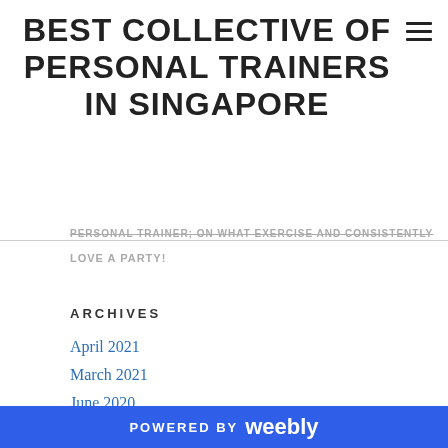BEST COLLECTIVE OF PERSONAL TRAINERS IN SINGAPORE
PERSONAL TRAINER; ON WHAT EXERCISE AND CONSISTENTLY
LOVE A PARTY!
ARCHIVES
April 2021
March 2021
June 2020
April 2020
November 2019
October 2018
May 2017
March 2017
February 2017
POWERED BY weebly